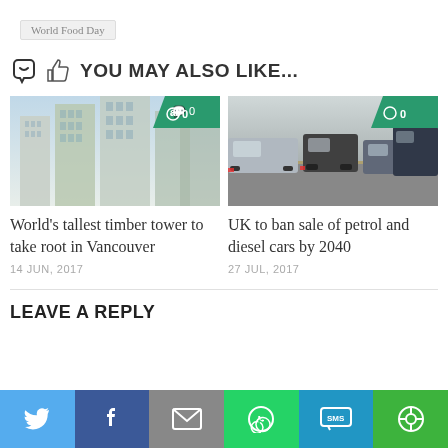World Food Day
YOU MAY ALSO LIKE...
[Figure (photo): Photo of tall timber/glass skyscrapers under construction in Vancouver, with comment badge showing 0]
[Figure (photo): Photo of heavy traffic on a UK road with cars and vans, with comment badge showing 0]
World’s tallest timber tower to take root in Vancouver
14 JUN, 2017
UK to ban sale of petrol and diesel cars by 2040
27 JUL, 2017
LEAVE A REPLY